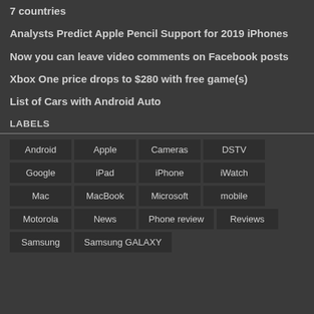7 countries
Analysts Predict Apple Pencil Support for 2019 iPhones
Now you can leave video comments on Facebook posts
Xbox One price drops to $280 with free game(s)
List of Cars with Android Auto
LABELS
Android
Apple
Cameras
DSTV
Google
iPad
iPhone
iWatch
Mac
MacBook
Microsoft
mobile
Motorola
News
Phone review
Reviews
Samsung
Samsung GALAXY